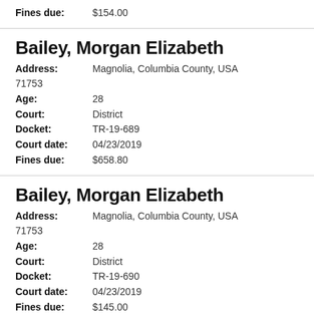Fines due: $154.00
Bailey, Morgan Elizabeth
Address: Magnolia, Columbia County, USA 71753
Age: 28
Court: District
Docket: TR-19-689
Court date: 04/23/2019
Fines due: $658.80
Bailey, Morgan Elizabeth
Address: Magnolia, Columbia County, USA 71753
Age: 28
Court: District
Docket: TR-19-690
Court date: 04/23/2019
Fines due: $145.00
Bailey, Morgan Elizabeth
Address: Magnolia, Columbia County, USA